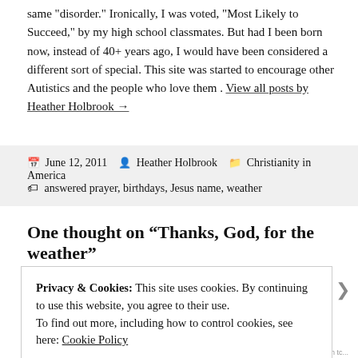same "disorder." Ironically, I was voted, "Most Likely to Succeed," by my high school classmates. But had I been born now, instead of 40+ years ago, I would have been considered a different sort of special. This site was started to encourage other Autistics and the people who love them . View all posts by Heather Holbrook →
June 12, 2011   Heather Holbrook   Christianity in America   answered prayer, birthdays, Jesus name, weather
One thought on "Thanks, God, for the weather"
Privacy & Cookies: This site uses cookies. By continuing to use this website, you agree to their use.
To find out more, including how to control cookies, see here: Cookie Policy
Close and accept